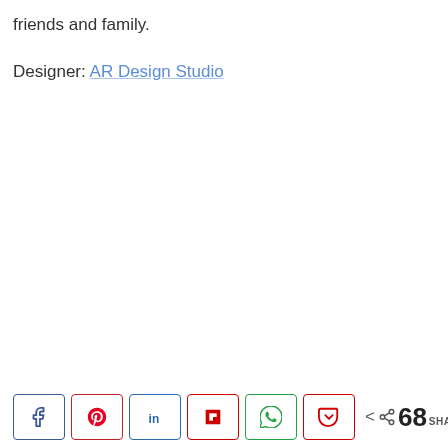friends and family.
Designer: AR Design Studio
[Figure (screenshot): Social sharing buttons row: Facebook, Pinterest, LinkedIn, Flipboard, WhatsApp, Pocket icons in bordered boxes, followed by a share icon and '68 SHARES' count.]